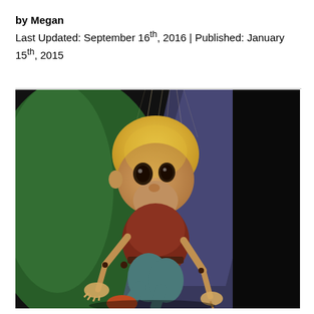by Megan
Last Updated: September 16th, 2016 | Published: January 15th, 2015
[Figure (photo): A wooden marionette puppet with an oversized rounded wooden head, large dark eyes, and a small nose. The puppet is crouching low, wearing brown clothing and teal/grey pants. It has jointed wooden limbs and strings visible at the top. The background shows dark areas with green and blue-purple lighting.]